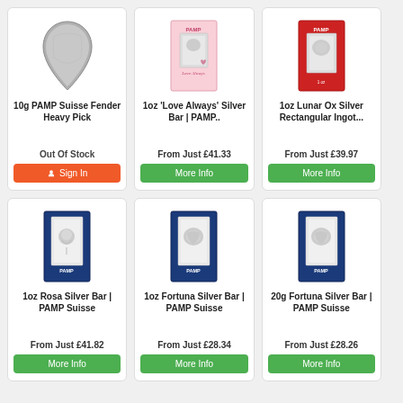[Figure (photo): 10g PAMP Suisse Fender Heavy Pick silver product image]
10g PAMP Suisse Fender Heavy Pick
Out Of Stock
Sign In
[Figure (photo): 1oz Love Always Silver Bar PAMP product image with pink and gold design]
1oz 'Love Always' Silver Bar | PAMP..
From Just £41.33
More Info
[Figure (photo): 1oz Lunar Ox Silver Rectangular Ingot PAMP product image with red packaging]
1oz Lunar Ox Silver Rectangular Ingot...
From Just £39.97
More Info
[Figure (photo): 1oz Rosa Silver Bar PAMP Suisse product image with blue packaging]
1oz Rosa Silver Bar | PAMP Suisse
From Just £41.82
More Info
[Figure (photo): 1oz Fortuna Silver Bar PAMP Suisse product image with blue packaging]
1oz Fortuna Silver Bar | PAMP Suisse
From Just £28.34
More Info
[Figure (photo): 20g Fortuna Silver Bar PAMP Suisse product image with blue packaging]
20g Fortuna Silver Bar | PAMP Suisse
From Just £28.26
More Info